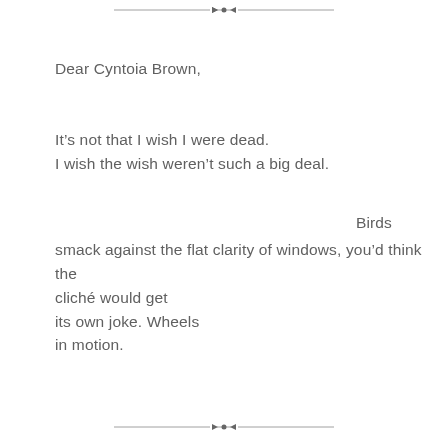[Figure (other): Decorative horizontal divider line with diamond/arrow ornament in center, at top of page]
Dear Cyntoia Brown,
It’s not that I wish I were dead.
I wish the wish weren’t such a big deal.
Birds
smack against the flat clarity of windows, you’d think the cliché would get
its own joke. Wheels
in motion.
[Figure (other): Decorative horizontal divider line with diamond/arrow ornament in center, at bottom of page]